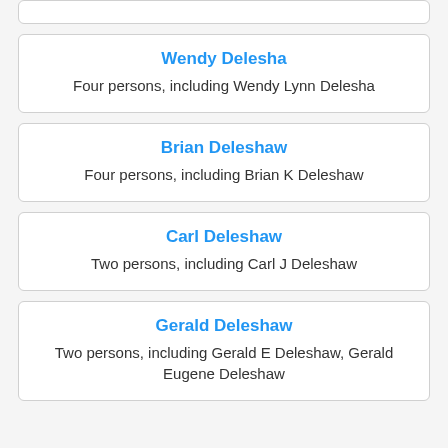(partial card at top)
Wendy Delesha
Four persons, including Wendy Lynn Delesha
Brian Deleshaw
Four persons, including Brian K Deleshaw
Carl Deleshaw
Two persons, including Carl J Deleshaw
Gerald Deleshaw
Two persons, including Gerald E Deleshaw, Gerald Eugene Deleshaw